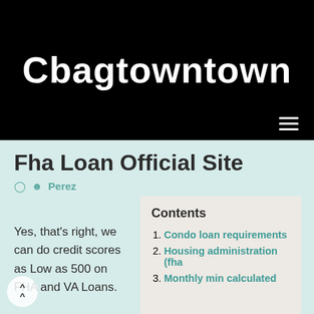Cbagtowntown
Fha Loan Official Site
Perez
Yes, that's right, we can do credit scores as Low as 500 on FHA and VA Loans.
Contents
Condo loan requirements
Housing administration (fha
Monthly min calculated